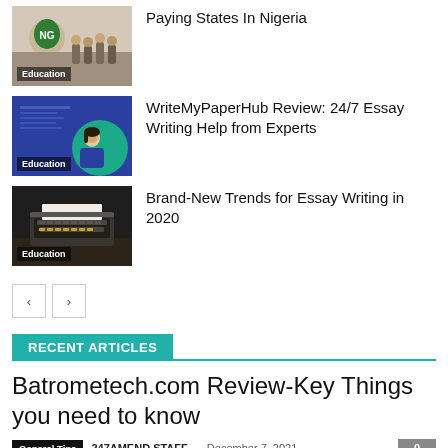[Figure (photo): Thumbnail image with Education label - Nigeria paying states article]
Paying States In Nigeria
[Figure (photo): Thumbnail image with Education label - WriteMyPaperHub review article, blue background with woman]
WriteMyPaperHub Review: 24/7 Essay Writing Help from Experts
[Figure (photo): Thumbnail image with Education label - typewriter on dark background]
Brand-New Trends for Essay Writing in 2020
< >
RECENT ARTICLES
Batrometech.com Review-Key Things you need to know
General Tips  247AMEND STAFF · December 7, 2021  0